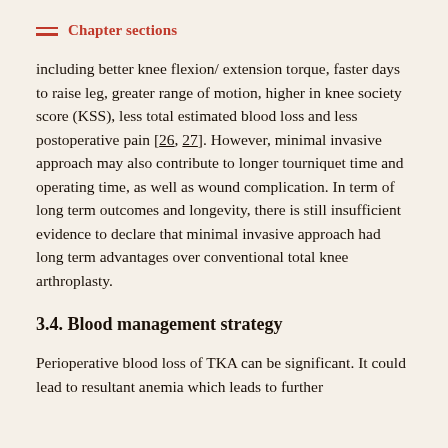Chapter sections
including better knee flexion/ extension torque, faster days to raise leg, greater range of motion, higher in knee society score (KSS), less total estimated blood loss and less postoperative pain [26, 27]. However, minimal invasive approach may also contribute to longer tourniquet time and operating time, as well as wound complication. In term of long term outcomes and longevity, there is still insufficient evidence to declare that minimal invasive approach had long term advantages over conventional total knee arthroplasty.
3.4. Blood management strategy
Perioperative blood loss of TKA can be significant. It could lead to resultant anemia which leads to further